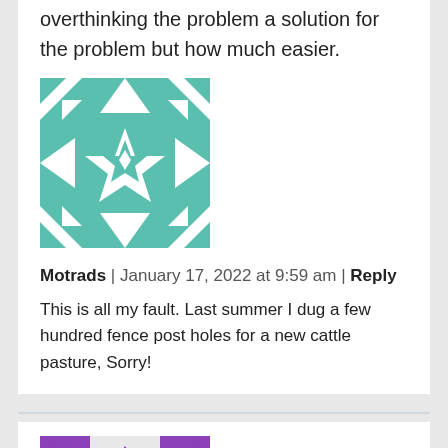overthinking the problem a solution for the problem but how much easier.
[Figure (illustration): Teal/green geometric quilt-pattern avatar icon for user Motrads]
Motrads | January 17, 2022 at 9:59 am | Reply
This is all my fault. Last summer I dug a few hundred fence post holes for a new cattle pasture, Sorry!
[Figure (illustration): Purple geometric star/arrow quilt-pattern avatar icon for user Rube]
Rube | January 17, 2022 at 9:43 am | Reply